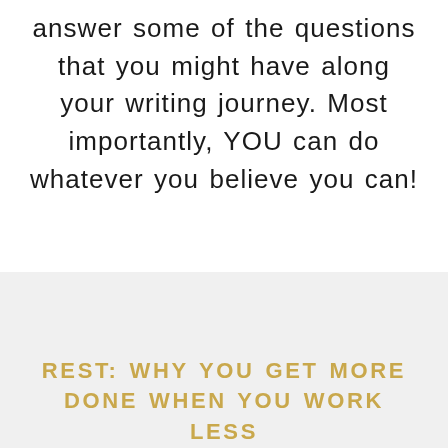answer some of the questions that you might have along your writing journey. Most importantly, YOU can do whatever you believe you can!
REST: WHY YOU GET MORE DONE WHEN YOU WORK LESS